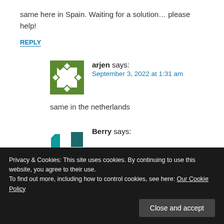same here in Spain. Waiting for a solution… please help!
REPLY
arjen says: September 3, 2022 at 1:31 am
same in the netherlands
Berry says:
Privacy & Cookies: This site uses cookies. By continuing to use this website, you agree to their use. To find out more, including how to control cookies, see here: Our Cookie Policy
Close and accept